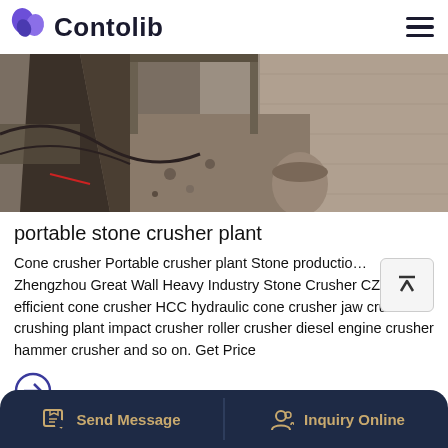Contolib
[Figure (photo): Industrial stone crusher plant machinery, showing a view of crushing equipment with concrete walls and debris]
portable stone crusher plant
Cone crusher Portable crusher plant Stone production Zhengzhou Great Wall Heavy Industry Stone Crusher CZS high efficient cone crusher HCC hydraulic cone crusher jaw crusher crushing plant impact crusher roller crusher diesel engine crusher hammer crusher and so on. Get Price